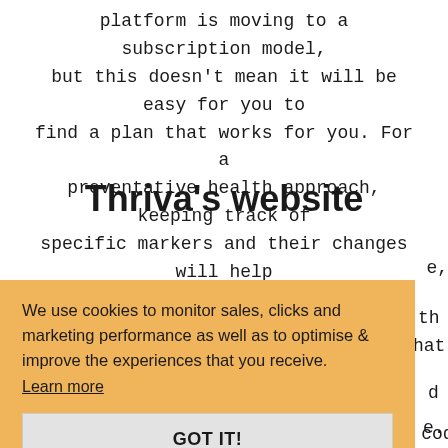platform is moving to a subscription model, but this doesn't mean it will be easy for you to find a plan that works for you. For a preventative health approach, keeping track of specific markers and their changes will help you make the best decisions.
Thriva's website
[Figure (screenshot): Cookie consent overlay popup with orange background over page content. The overlay reads: 'We use cookies to monitor sales, clicks and marketing performance as well as to optimise & improve the experiences that you receive. Learn more' with a 'GOT IT!' button below.]
Alternatively, you can get promotional codes